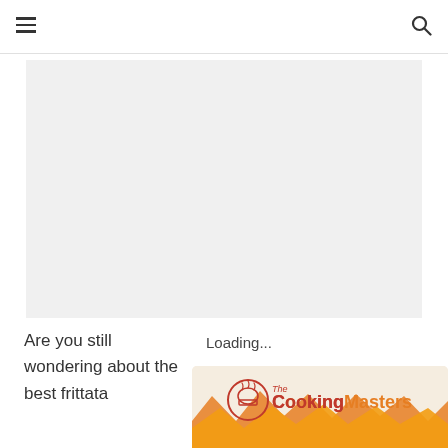[Figure (other): Gray placeholder rectangle for an advertisement or embedded content]
Loading...
Are you still wondering about the best frittata
[Figure (logo): The Cooking Masters logo with a chef hat icon inside a circle, and stylized orange crown/wave decoration below]